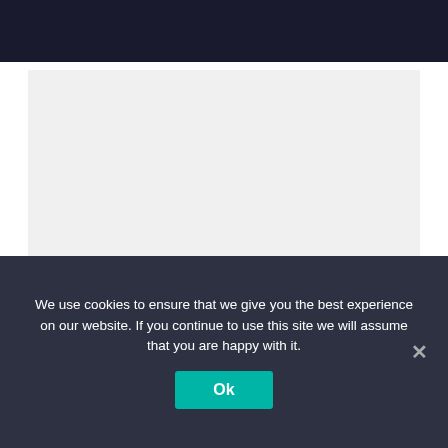Navigation bar with home, menu, and search icons
[Figure (other): Gray advertisement/placeholder box]
Help support the Globe
The Sofia Globe team can testify that upholding the globe is reminiscent of the work of Atlas.
We use cookies to ensure that we give you the best experience on our website. If you continue to use this site we will assume that you are happy with it. Ok